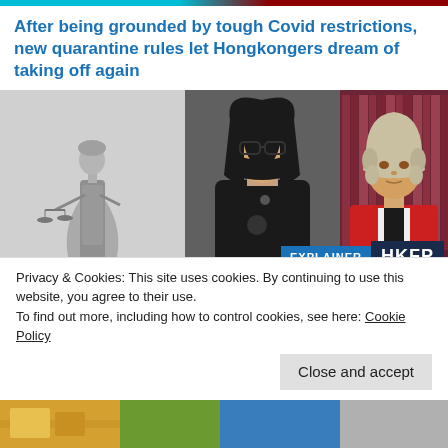After being grounded by tough Covid restrictions, new quarantine rules let Hongkongers dream of taking off again
[Figure (photo): Three-panel image: left panel shows a grey-scale statue of Lady Justice holding scales; center panel shows a person wearing a black mask and glasses in a black outfit; right panel shows a judge in red robes and white wig in front of law books. Overlaid badges read 'EXPLAINER' and 'HKFP'.]
Explainer: What are reporting restrictions, and what would
Privacy & Cookies: This site uses cookies. By continuing to use this website, you agree to their use.
To find out more, including how to control cookies, see here: Cookie Policy
Close and accept
[Figure (photo): Bottom strip showing partial images of colorful items.]